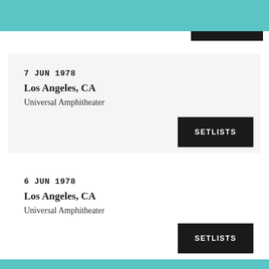7 JUN 1978
Los Angeles, CA
Universal Amphitheater
SETLISTS
6 JUN 1978
Los Angeles, CA
Universal Amphitheater
SETLISTS